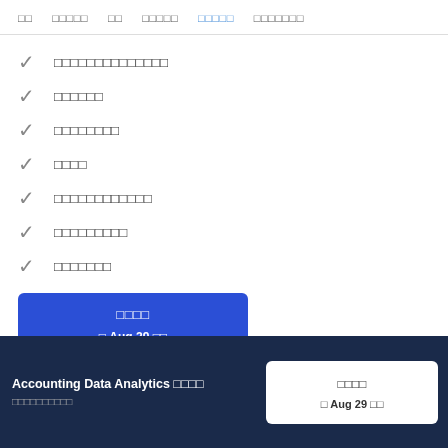□□  □□□□□  □□  □□□□□  □□□□□  □□□□□□□
✓ □□□□□□□□□□□□□□
✓ □□□□□□
✓ □□□□□□□□
✓ □□□□
✓ □□□□□□□□□□□□
✓ □□□□□□□□□
✓ □□□□□□□
[Figure (other): Blue card showing title text and date Aug 29]
Accounting Data Analytics □□□□ □□□□□□□□□□
[Figure (other): White card on dark banner showing title text and date Aug 29]